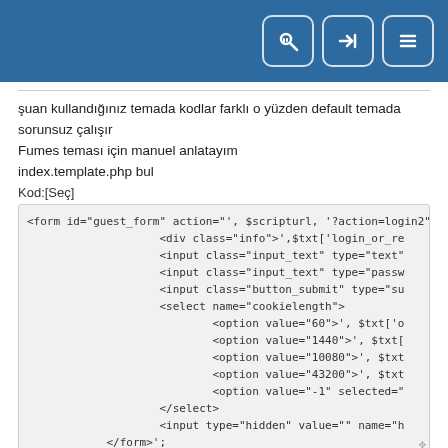[Figure (screenshot): Dark blue header bar with three icon buttons (search/key, login arrow, menu) in rounded square outlines on the right side]
şuan kullandığınız temada kodlar farklı o yüzden default temada sorunsuz çalışır
Fumes teması için manuel anlatayım
index.template.php bul
Kod:[Seç]
<form id="guest_form" action="', $scripturl, '?action=login2"
                    <div class="info">',$txt['login_or_re
                    <input class="input_text" type="text"
                    <input class="input_text" type="passw
                    <input class="button_submit" type="su
                    <select name="cookielength">
                            <option value="60">', $txt['o
                            <option value="1440">', $txt[
                            <option value="10080">', $txt
                            <option value="43200">', $txt
                            <option value="-1" selected="
                    </select>
                    <input type="hidden" value="" name="h
            </form>';